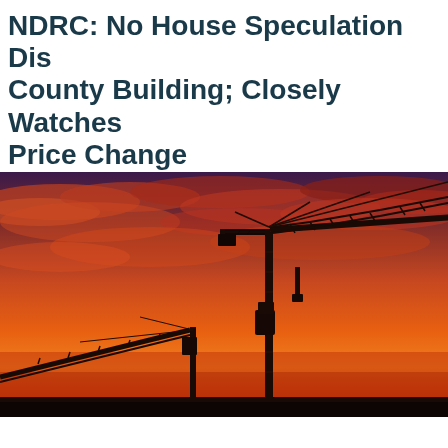NDRC: No House Speculation Dis... County Building; Closely Watches Price Change
[Figure (photo): Silhouette of construction cranes against a dramatic orange and red sunset sky with wispy clouds]